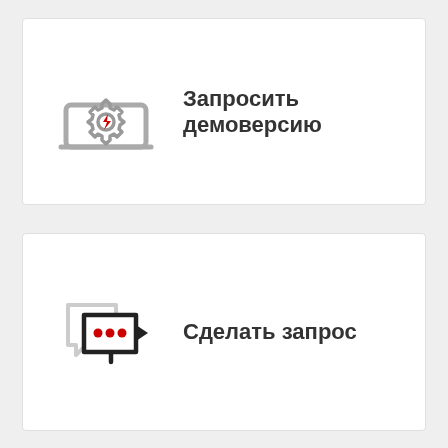[Figure (illustration): Card with laptop/gear icon with red lightning bolt and bold Russian text 'Запросить демоверсию']
[Figure (illustration): Card with chat bubble icon with three red dots and bold Russian text 'Сделать запрос']